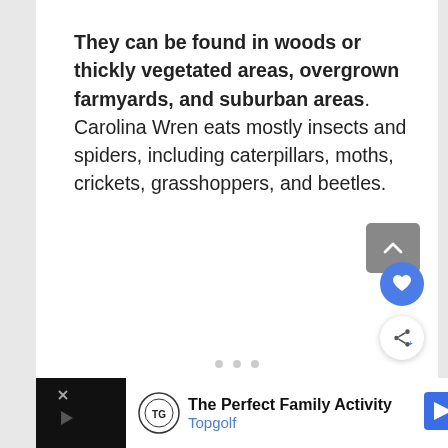They can be found in woods or thickly vegetated areas, overgrown farmyards, and suburban areas. Carolina Wren eats mostly insects and spiders, including caterpillars, moths, crickets, grasshoppers, and beetles.
[Figure (screenshot): UI buttons: scroll-to-top gray square button, blue heart/favorite circular button, white share circular button with share icon, and three navigation dots]
[Figure (infographic): Advertisement bar at bottom: black background on sides, white center area showing Topgolf logo and text 'The Perfect Family Activity Topgolf' with a blue navigation arrow icon]